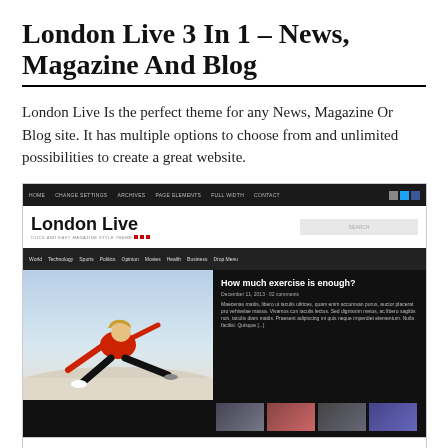London Live 3 In 1 – News, Magazine And Blog
London Live Is the perfect theme for any News, Magazine Or Blog site. It has multiple options to choose from and unlimited possibilities to create a great website.
[Figure (screenshot): Screenshot of the London Live WordPress theme showing a dark navigation bar, logo, category navigation, and a featured article about 'How much exercise is enough?' with a woman in a red workout outfit stretching, along with thumbnail images and a bottom bar with LATEST and FEATURED labels.]